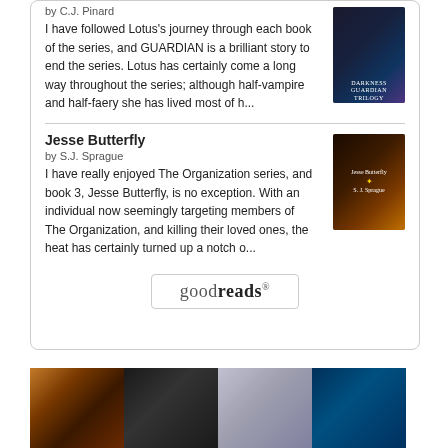by C.J. Pinard
I have followed Lotus's journey through each book of the series, and GUARDIAN is a brilliant story to end the series. Lotus has certainly come a long way throughout the series; although half-vampire and half-faery she has lived most of h...
[Figure (illustration): Book cover for a dark fantasy novel, dark blue/purple tones]
Jesse Butterfly
by S.J. Sprague
I have really enjoyed The Organization series, and book 3, Jesse Butterfly, is no exception. With an individual now seemingly targeting members of The Organization, and killing their loved ones, the heat has certainly turned up a notch o...
[Figure (illustration): Book cover for Jesse Butterfly by S.J. Sprague, dark brown/gold tones]
[Figure (logo): Goodreads button/logo]
[Figure (illustration): Four book covers shown at the bottom of the page]